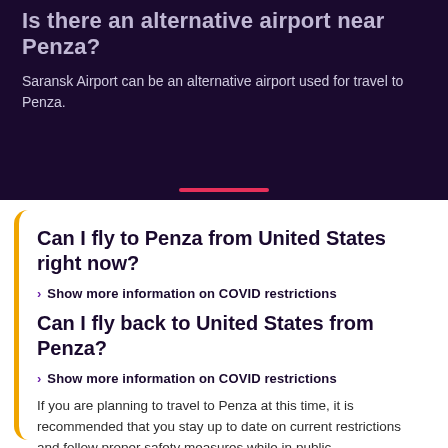Is there an alternative airport near Penza?
Saransk Airport can be an alternative airport used for travel to Penza.
Can I fly to Penza from United States right now?
Show more information on COVID restrictions
Can I fly back to United States from Penza?
Show more information on COVID restrictions
If you are planning to travel to Penza at this time, it is recommended that you stay up to date on current restrictions and follow proper safety measures while in public.